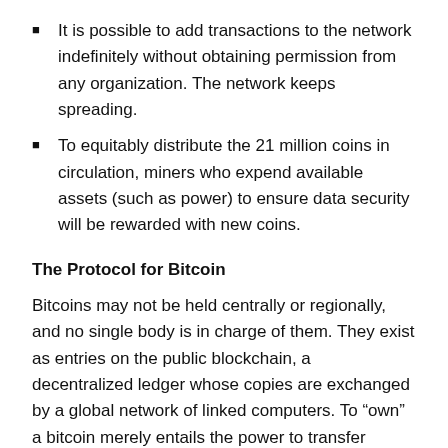It is possible to add transactions to the network indefinitely without obtaining permission from any organization. The network keeps spreading.
To equitably distribute the 21 million coins in circulation, miners who expend available assets (such as power) to ensure data security will be rewarded with new coins.
The Protocol for Bitcoin
Bitcoins may not be held centrally or regionally, and no single body is in charge of them. They exist as entries on the public blockchain, a decentralized ledger whose copies are exchanged by a global network of linked computers. To “own” a bitcoin merely entails the power to transfer ownership of it to another party by recording the transaction in the bitcoin blockchain. What gives you this power? ECDSA asymmetric key pair accessibility- what does this mean, and how does it protect you?